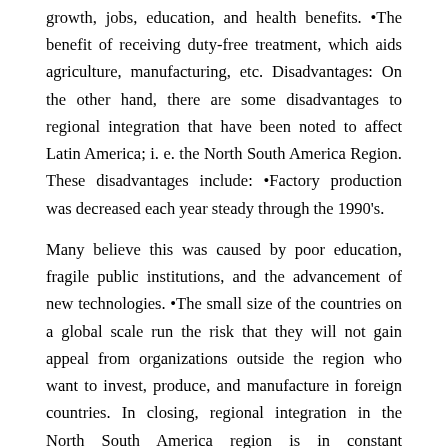growth, jobs, education, and health benefits. •The benefit of receiving duty-free treatment, which aids agriculture, manufacturing, etc. Disadvantages: On the other hand, there are some disadvantages to regional integration that have been noted to affect Latin America; i. e. the North South America Region. These disadvantages include: •Factory production was decreased each year steady through the 1990's.
Many believe this was caused by poor education, fragile public institutions, and the advancement of new technologies. •The small size of the countries on a global scale run the risk that they will not gain appeal from organizations outside the region who want to invest, produce, and manufacture in foreign countries. In closing, regional integration in the North South America region is in constant development. As seen in the paper Columbia is far more advanced in its views concerning regional integration and globalization. Venezuela, is taking steps to become more regional integrated, but have a long way to go.